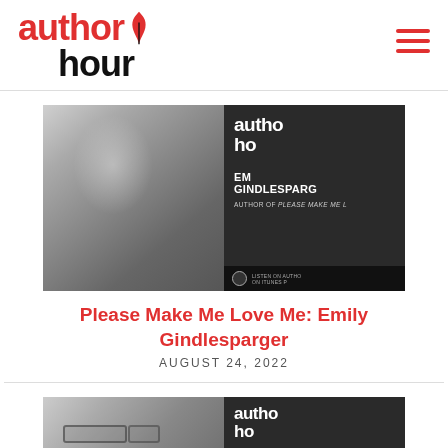[Figure (logo): Author Hour logo with red text 'author', feather/pen icon, and black text 'hour']
[Figure (photo): Black and white podcast thumbnail image showing Emily Gindlesparger with Author Hour branding, text reads 'EMILY GINDLESPARGER AUTHOR OF PLEASE MAKE ME LOVE ME, LISTEN ON ITUNES PODCASTS']
Please Make Me Love Me: Emily Gindlesparger
AUGUST 24, 2022
[Figure (photo): Black and white podcast thumbnail image (partially visible) showing a person with glasses and Author Hour branding]